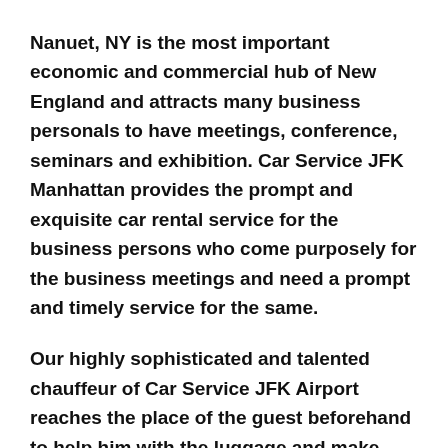Nanuet, NY is the most important economic and commercial hub of New England and attracts many business personals to have meetings, conference, seminars and exhibition. Car Service JFK Manhattan provides the prompt and exquisite car rental service for the business persons who come purposely for the business meetings and need a prompt and timely service for the same.
Our highly sophisticated and talented chauffeur of Car Service JFK Airport reaches the place of the guest beforehand to help him with the luggage and make sure to reach the airport on time.
If you have booked the JFK Airport Car Service for